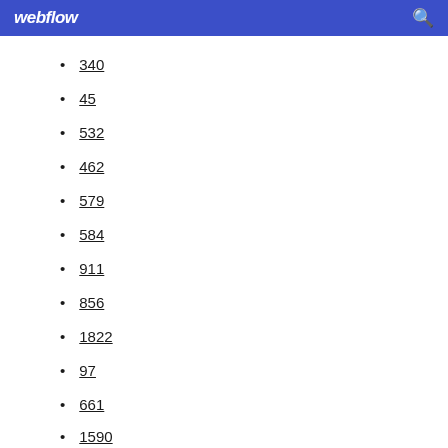webflow
340
45
532
462
579
584
911
856
1822
97
661
1590
1186